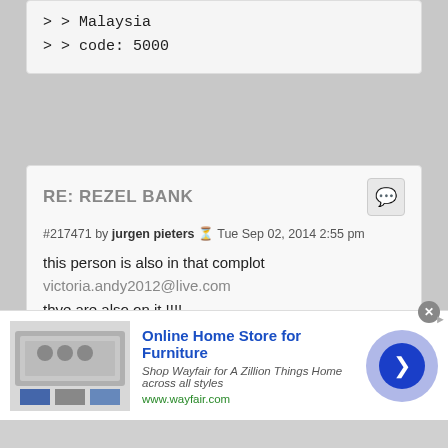> > Malaysia
> > code: 5000
RE: REZEL BANK
#217471 by jurgen pieters Tue Sep 02, 2014 2:55 pm
this person is also in that complot
victoria.andy2012@live.com
thye are also on it !!!!
NAME : Evo Tec Resources
BANK: CIMB BANK
ACCOUNT NUMBER : 8006884542
Cimb Bank herhad 22a lorong batu nilam 4b
Bandar Bukit Tingi
[Figure (screenshot): Advertisement for Wayfair Online Home Store for Furniture with image of appliances, text and navigation arrow]